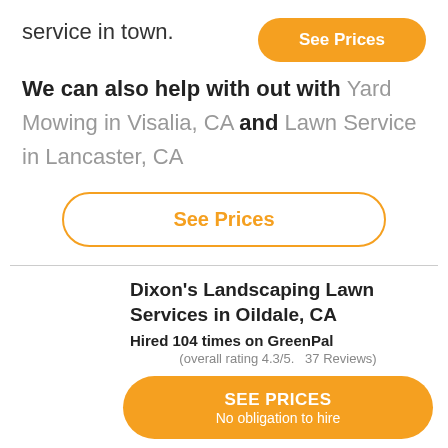service in town.
See Prices
We can also help with out with Yard Mowing in Visalia, CA and Lawn Service in Lancaster, CA
See Prices
Dixon's Landscaping Lawn Services in Oildale, CA
Hired 104 times on GreenPal
(overall rating 4.3/5.  37 Reviews)
SEE PRICES
No obligation to hire
This may shock you, but grass eats too.